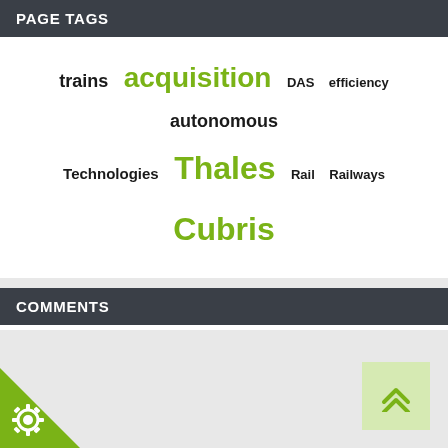PAGE TAGS
trains acquisition DAS efficiency autonomous Technologies Thales Rail Railways Cubris
COMMENTS
There are no comments yet for this item
Join the discussion
You can only add a comment when you are logged in. Click here to login